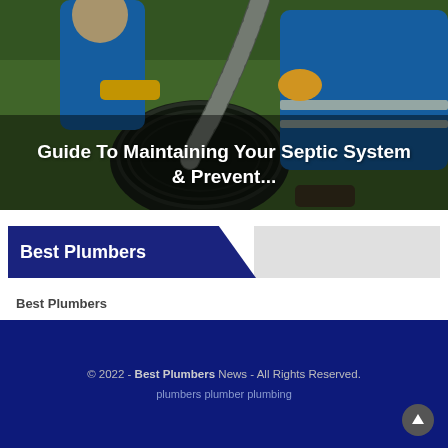[Figure (photo): Two workers in blue uniforms and yellow gloves servicing a septic system manhole, inserting a large corrugated hose into an underground tank surrounded by grass.]
Guide To Maintaining Your Septic System & Prevent...
Best Plumbers
Best Plumbers
© 2022 - Best Plumbers News - All Rights Reserved.
plumbers plumber plumbing